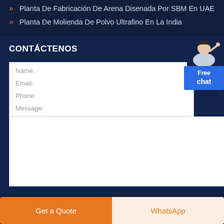Planta De Fabricación De Arena Disenada Por SBM En UAE
Planta De Molienda De Polvo Ultrafino En La India
CONTÁCTENOS
Name:
Email:
Phone:
Message:
[Figure (illustration): Customer service agent with Free chat button widget]
Get a Quote
WhatsApp